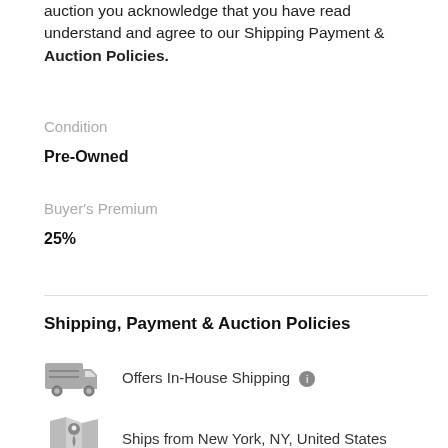auction you acknowledge that you have read understand and agree to our Shipping Payment & Auction Policies.
Condition
Pre-Owned
Buyer's Premium
25%
Shipping, Payment & Auction Policies
Offers In-House Shipping
Ships from New York, NY, United States